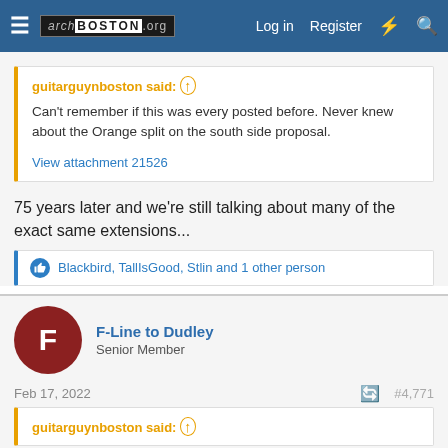archBOSTON.org — Log in  Register
guitarguynboston said: ↑
Can't remember if this was every posted before. Never knew about the Orange split on the south side proposal.
View attachment 21526
75 years later and we're still talking about many of the exact same extensions...
Blackbird, TallIsGood, Stlin and 1 other person
F-Line to Dudley
Senior Member
Feb 17, 2022  #4,771
guitarguynboston said: ↑